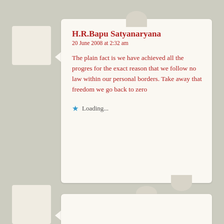H.R.Bapu Satyanaryana
20 June 2008 at 2:32 am

The plain fact is we have achieved all the progres for the exact reason that we follow no law within our personal borders. Take away that freedom we go back to zero

Loading...
Madhu Rao